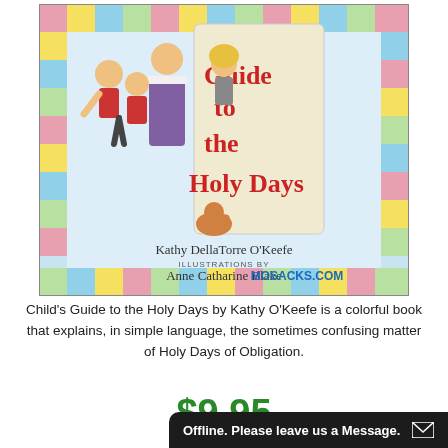[Figure (illustration): Book cover of Child's Guide to the Holy Days by Kathy DellaTorre O'Keefe, illustrated by Anne Catharine Blake. Cover shows cartoon children and a priest in a colorful tiled border. Title text visible: 'Guide to the Holy Days'. Watermark: MOSACKS.COM]
Child's Guide to the Holy Days by Kathy O'Keefe is a colorful book that explains, in simple language, the sometimes confusing matter of Holy Days of Obligation.
$9.95
Offline. Please leave us a Message.